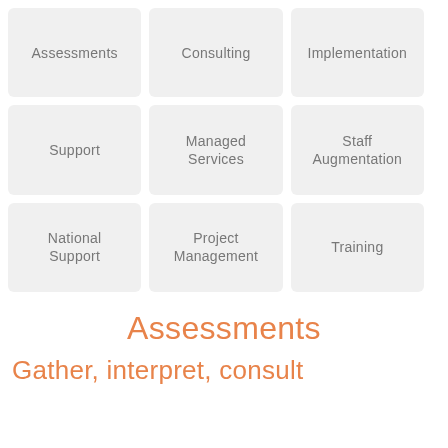[Figure (infographic): 3x3 grid of service category tiles: Assessments, Consulting, Implementation, Support, Managed Services, Staff Augmentation, National Support, Project Management, Training]
Assessments
Gather, interpret, consult